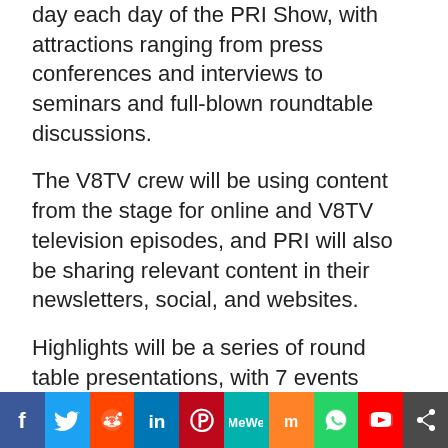day each day of the PRI Show, with attractions ranging from press conferences and interviews to seminars and full-blown roundtable discussions.
The V8TV crew will be using content from the stage for online and V8TV television episodes, and PRI will also be sharing relevant content in their newsletters, social, and websites.
Highlights will be a series of round table presentations, with 7 events planned. These are approximately 1 hour in length. Moderated by automotive host Kevin Oeste, (SEMA, V8TV, Muscle Car Of The Week, Muscle Car and Corvette Nationals), these live shows bring racing personalities to the stage as well as manufacturers and engine builders to discuss some of the hottest racing topics. A description of each is below. In addition, there will be at least 6 individual
[Figure (infographic): Social media share bar with icons: Facebook (blue), Twitter (light blue), Reddit (orange-red), LinkedIn (blue), Pinterest (red), MeWe (teal), Mix (orange), WhatsApp (green), YouTube (red), Share (dark gray)]